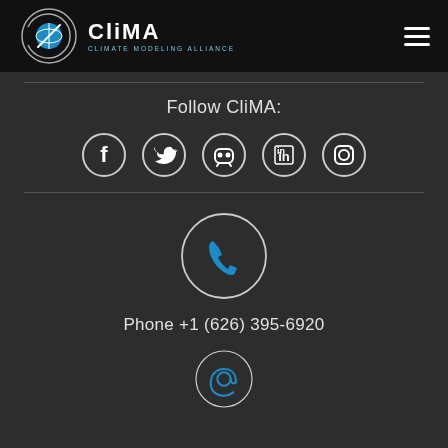[Figure (logo): CliMA Climate Modeling Alliance logo — circular orbit graphic with 'CliMA' text, white on black header]
Follow CliMA:
[Figure (illustration): Five social media icons in circles: Facebook, Twitter, GitHub/Discord, LinkedIn, Instagram]
[Figure (illustration): Phone icon in a large circle]
Phone +1 (626) 395-6920
[Figure (illustration): Email/at-sign icon in a large circle (partially visible at bottom)]